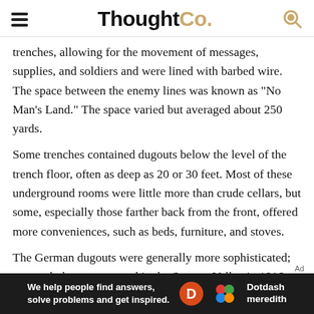ThoughtCo.
trenches, allowing for the movement of messages, supplies, and soldiers and were lined with barbed wire. The space between the enemy lines was known as "No Man's Land." The space varied but averaged about 250 yards.
Some trenches contained dugouts below the level of the trench floor, often as deep as 20 or 30 feet. Most of these underground rooms were little more than crude cellars, but some, especially those farther back from the front, offered more conveniences, such as beds, furniture, and stoves.
The German dugouts were generally more sophisticated; one such dugout captured in the Somme Valley in 1916 was found to have toilets, electricity, ventilation, and even wallpaper.
[Figure (other): Dotdash Meredith advertisement banner: 'We help people find answers, solve problems and get inspired.']